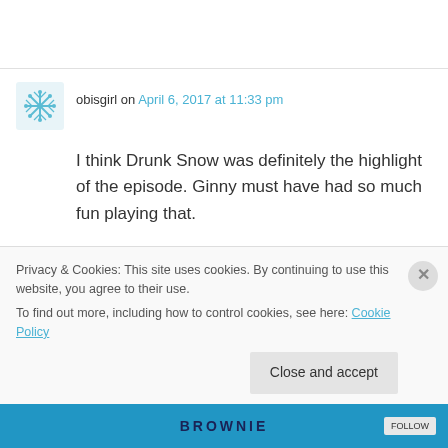obisgirl on April 6, 2017 at 11:33 pm
I think Drunk Snow was definitely the highlight of the episode. Ginny must have had so much fun playing that.
I'm happy Jasmine and Aladdin got a true love's kiss and Agrabah was saved but I think the development, or the lack of writing didn't help. I
Privacy & Cookies: This site uses cookies. By continuing to use this website, you agree to their use.
To find out more, including how to control cookies, see here: Cookie Policy
Close and accept